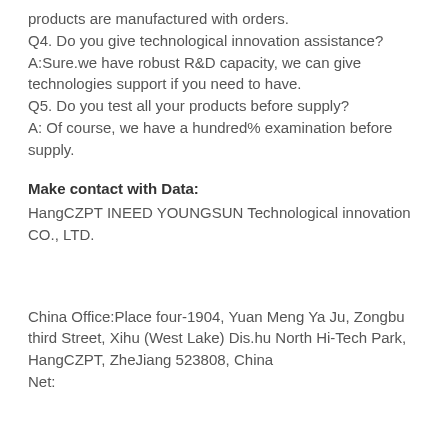products are manufactured with orders.
Q4. Do you give technological innovation assistance? A:Sure.we have robust R&D capacity, we can give technologies support if you need to have.
Q5. Do you test all your products before supply? A: Of course, we have a hundred% examination before supply.
Make contact with Data:
HangCZPT INEED YOUNGSUN Technological innovation CO., LTD.
China Office:Place four-1904, Yuan Meng Ya Ju, Zongbu third Street, Xihu (West Lake) Dis.hu North Hi-Tech Park, HangCZPT, ZheJiang 523808, China
Net: